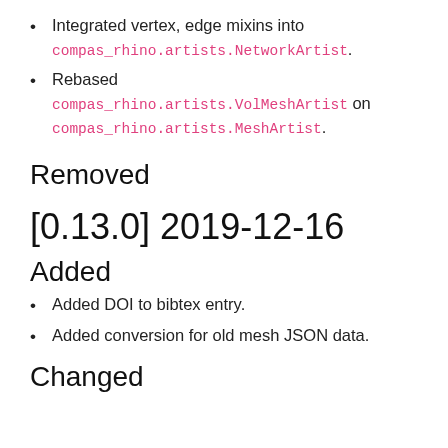Integrated vertex, edge mixins into compas_rhino.artists.NetworkArtist.
Rebased compas_rhino.artists.VolMeshArtist on compas_rhino.artists.MeshArtist.
Removed
[0.13.0] 2019-12-16
Added
Added DOI to bibtex entry.
Added conversion for old mesh JSON data.
Changed